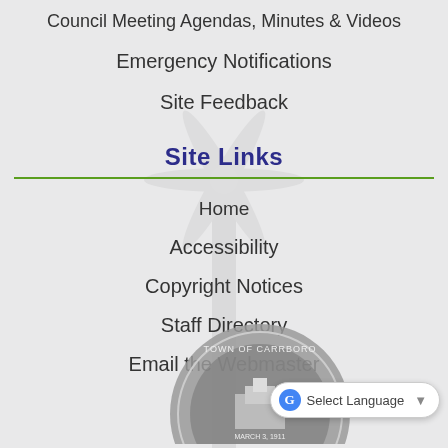Council Meeting Agendas, Minutes & Videos
Emergency Notifications
Site Feedback
Site Links
Home
Accessibility
Copyright Notices
Staff Directory
Email the Webmaster
[Figure (logo): Town of Carrboro official seal, circular gray emblem with text TOWN OF CARRBORO and MARCH 3, 1911]
Select Language